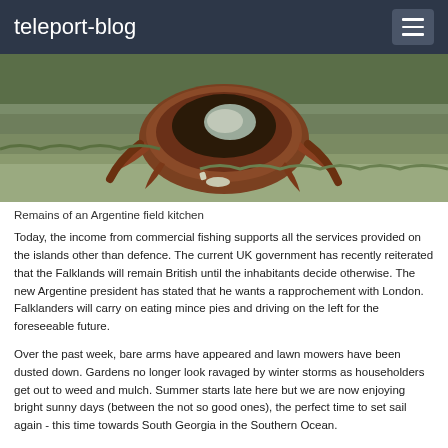teleport-blog
[Figure (photo): Remains of a rusted Argentine field kitchen lying on grass]
Remains of an Argentine field kitchen
Today, the income from commercial fishing supports all the services provided on the islands other than defence. The current UK government has recently reiterated that the Falklands will remain British until the inhabitants decide otherwise. The new Argentine president has stated that he wants a rapprochement with London. Falklanders will carry on eating mince pies and driving on the left for the foreseeable future.
Over the past week, bare arms have appeared and lawn mowers have been dusted down. Gardens no longer look ravaged by winter storms as householders get out to weed and mulch. Summer starts late here but we are now enjoying bright sunny days (between the not so good ones), the perfect time to set sail again - this time towards South Georgia in the Southern Ocean.
For the next two months our access to email will be through the satellite telephone. Our address is